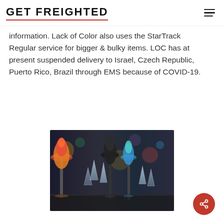GET FREIGHTED
information. Lack of Color also uses the StarTrack Regular service for bigger & bulky items. LOC has at present suspended delivery to Israel, Czech Republic, Puerto Rico, Brazil through EMS because of COVID-19.
[Figure (photo): Photo of colorful hats or accessories displayed on stands at what appears to be a retail or exhibition setting with blurred background lighting.]